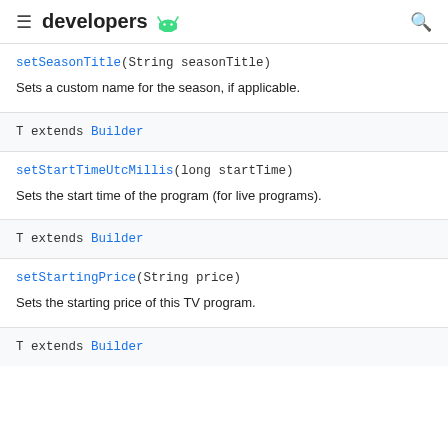developers
setSeasonTitle(String seasonTitle)
Sets a custom name for the season, if applicable.
T extends Builder
setStartTimeUtcMillis(long startTime)
Sets the start time of the program (for live programs).
T extends Builder
setStartingPrice(String price)
Sets the starting price of this TV program.
T extends Builder